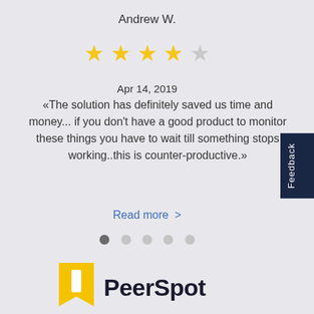Andrew W.
[Figure (other): 4 filled yellow stars and 1 empty/grey star rating out of 5]
Apr 14, 2019
«The solution has definitely saved us time and money... if you don't have a good product to monitor these things you have to wait till something stops working..this is counter-productive.»
Read more  >
[Figure (other): Carousel navigation dots: 5 dots, first filled dark, remaining light grey]
[Figure (logo): PeerSpot logo: yellow bookmark/speech-bubble icon with a white bookmark shape, followed by bold dark text 'PeerSpot']
Feedback